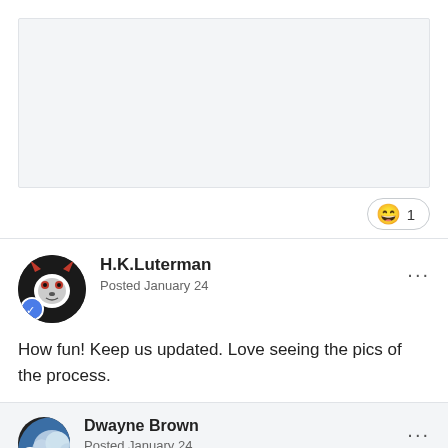[Figure (other): Light blue-grey rounded rectangle box (previous post content area, truncated at top)]
[Figure (other): Reaction pill button with laughing emoji and count '1']
H.K.Luterman
Posted January 24
How fun! Keep us updated. Love seeing the pics of the process.
Dwayne Brown
Posted January 24